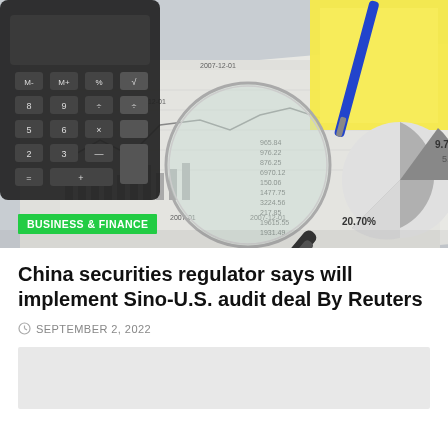[Figure (photo): Photo of financial charts, a magnifying glass, calculator, pen, yellow notepad, and pie chart showing 9.73%, 5.3%, and 20.70% values on a desk]
BUSINESS & FINANCE
China securities regulator says will implement Sino-U.S. audit deal By Reuters
SEPTEMBER 2, 2022